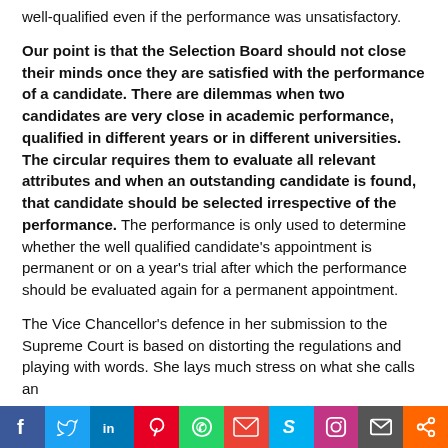well-qualified even if the performance was unsatisfactory.
Our point is that the Selection Board should not close their minds once they are satisfied with the performance of a candidate. There are dilemmas when two candidates are very close in academic performance, qualified in different years or in different universities. The circular requires them to evaluate all relevant attributes and when an outstanding candidate is found, that candidate should be selected irrespective of the performance. The performance is only used to determine whether the well qualified candidate's appointment is permanent or on a year's trial after which the performance should be evaluated again for a permanent appointment.
The Vice Chancellor's defence in her submission to the Supreme Court is based on distorting the regulations and playing with words. She lays much stress on what she calls an
[Figure (other): Social media sharing bar with buttons for Facebook, Twitter, LinkedIn, Pinterest, WhatsApp, Gmail, Skype, Instagram, Email, and Share]